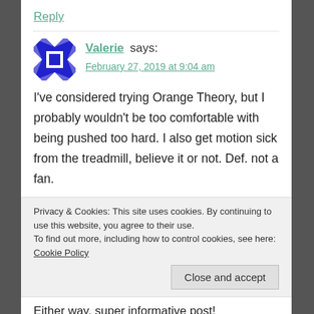Reply
Valerie says:
February 27, 2019 at 9:04 am
I've considered trying Orange Theory, but I probably wouldn't be too comfortable with being pushed too hard. I also get motion sick from the treadmill, believe it or not. Def. not a fan.
Privacy & Cookies: This site uses cookies. By continuing to use this website, you agree to their use. To find out more, including how to control cookies, see here: Cookie Policy
Close and accept
Either way, super informative post!